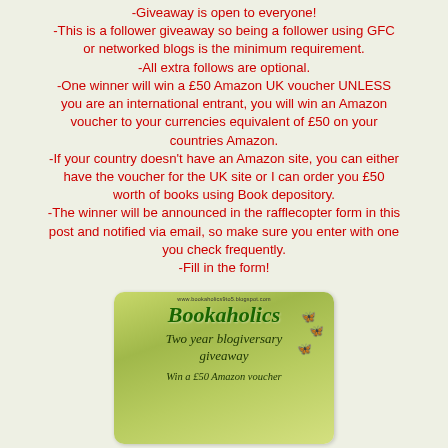-Giveaway is open to everyone! -This is a follower giveaway so being a follower using GFC or networked blogs is the minimum requirement. -All extra follows are optional. -One winner will win a £50 Amazon UK voucher UNLESS you are an international entrant, you will win an Amazon voucher to your currencies equivalent of £50 on your countries Amazon. -If your country doesn't have an Amazon site, you can either have the voucher for the UK site or I can order you £50 worth of books using Book depository. -The winner will be announced in the rafflecopter form in this post and notified via email, so make sure you enter with one you check frequently. -Fill in the form!
[Figure (illustration): Bookaholics Two year blogiversary giveaway - Win a £50 Amazon voucher. Green background with butterflies and cursive/italic text.]